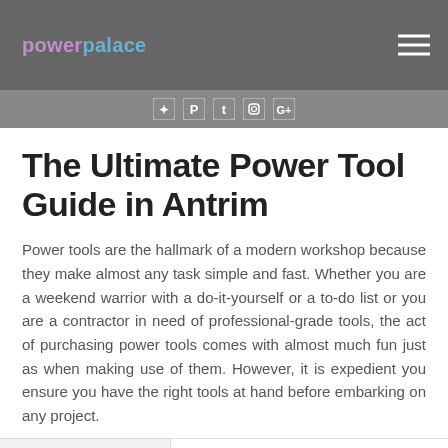power palace — navigation header with hamburger menu
Social icons: Twitter, Pinterest, Tumblr, Instagram, Google+
The Ultimate Power Tool Guide in Antrim
Power tools are the hallmark of a modern workshop because they make almost any task simple and fast. Whether you are a weekend warrior with a do-it-yourself or a to-do list or you are a contractor in need of professional-grade tools, the act of purchasing power tools comes with almost much fun just as when making use of them. However, it is expedient you ensure you have the right tools at hand before embarking on any project.
[Figure (photo): Photo of a 24 Litre Air Compressor product (SGS branded) shown in a product listing]
24 Litre
Air
Compressor